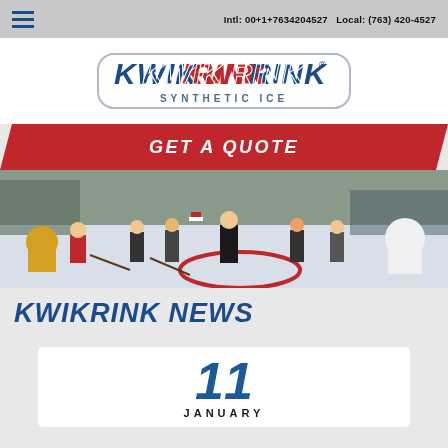Intl: 00+1+7634204527   Local: (763) 420-4527
[Figure (logo): Kwik Rink Synthetic Ice logo — bold red and blue lettering with italic styling and a rounded rectangular border outline]
[Figure (other): Red banner button with text GET A QUOTE in white bold italic capitals]
[Figure (photo): Outdoor synthetic ice rink with people playing hockey including mascots in costumes]
KWIKRINK NEWS
11
JANUARY